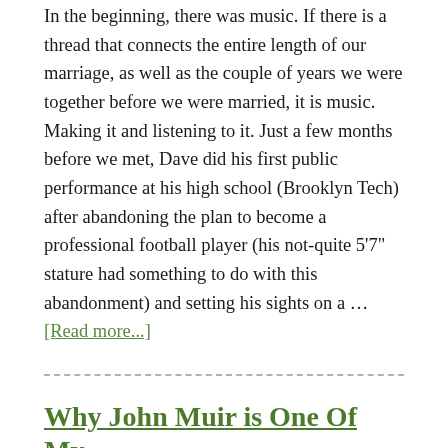In the beginning, there was music. If there is a thread that connects the entire length of our marriage, as well as the couple of years we were together before we were married, it is music. Making it and listening to it. Just a few months before we met, Dave did his first public performance at his high school (Brooklyn Tech) after abandoning the plan to become a professional football player (his not-quite 5'7" stature had something to do with this abandonment) and setting his sights on a … [Read more...]
Why John Muir is One Of My